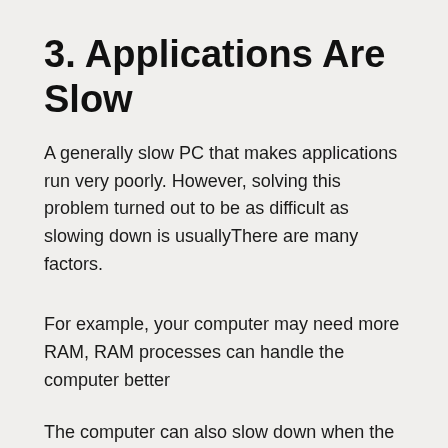3. Applications Are Slow
A generally slow PC that makes applications run very poorly. However, solving this problem turned out to be as difficult as slowing down is usuallyThere are many factors.
For example, your computer may need more RAM, RAM processes can handle the computer better
The computer can also slow down when the hard drive is full—often the primary hard drive where your operating system is installed and running. But a faulty or failed